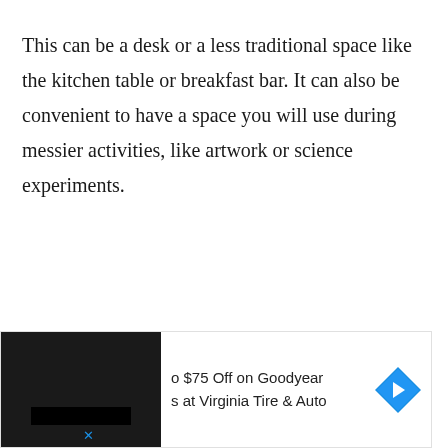This can be a desk or a less traditional space like the kitchen table or breakfast bar. It can also be convenient to have a space you will use during messier activities, like artwork or science experiments.
[Figure (other): Advertisement banner showing a partially cropped image with dark/black left panel and text on the right reading 'o $75 Off on Goodyear s at Virginia Tire & Auto' with a blue navigation arrow icon, and a close (x) button at the bottom left.]